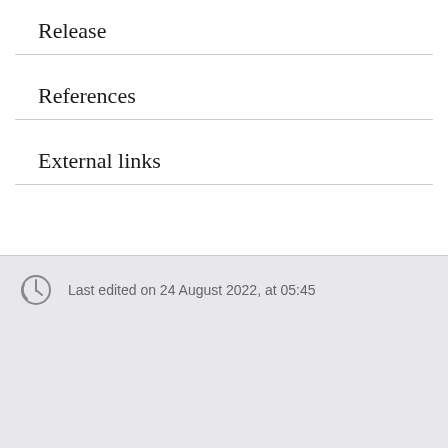Release
References
External links
Last edited on 24 August 2022, at 05:45